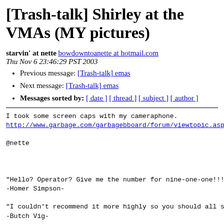[Trash-talk] Shirley at the VMAs (MY pictures)
starvin' at nette bowdowntoanette at hotmail.com
Thu Nov 6 23:46:29 PST 2003
Previous message: [Trash-talk] emas
Next message: [Trash-talk] emas
Messages sorted by: [ date ] [ thread ] [ subject ] [ author ]
I took some screen caps with my cameraphone.
http://www.garbage.com/garbagebboard/forum/viewtopic.asp?

@nette



"Hello? Operator? Give me the number for nine-one-one!!!!"
-Homer Simpson-

"I couldn't recommend it more highly so you should all st
-Butch Vig-